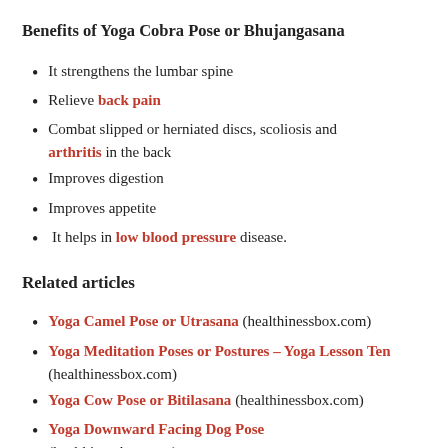Benefits of Yoga Cobra Pose or Bhujangasana
It strengthens the lumbar spine
Relieve back pain
Combat slipped or herniated discs, scoliosis and arthritis in the back
Improves digestion
Improves appetite
It helps in low blood pressure disease.
Related articles
Yoga Camel Pose or Utrasana (healthinessbox.com)
Yoga Meditation Poses or Postures – Yoga Lesson Ten (healthinessbox.com)
Yoga Cow Pose or Bitilasana (healthinessbox.com)
Yoga Downward Facing Dog Pose (healthinessbox.com)